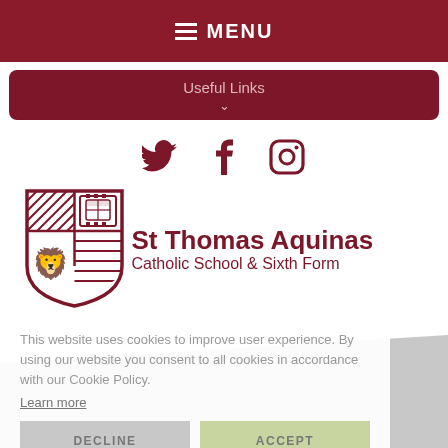MENU
Useful Links
[Figure (logo): Twitter, Facebook, and Instagram social media icons in dark red/maroon color]
[Figure (logo): St Thomas Aquinas Catholic School shield crest logo in dark red/maroon]
St Thomas Aquinas
Catholic School & Sixth Form
This website uses cookies to improve user experience. By using our website you consent to all cookies in accordance with our Cookie Policy. Learn more
DECLINE
ACCEPT